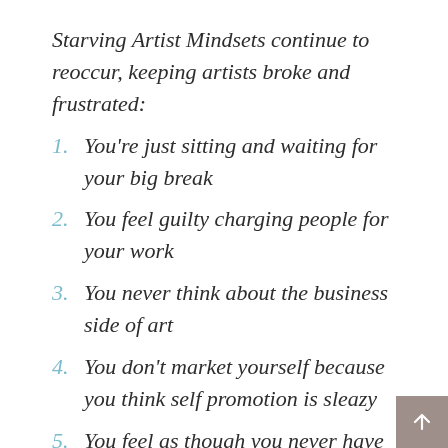Starving Artist Mindsets continue to reoccur, keeping artists broke and frustrated:
1. You're just sitting and waiting for your big break
2. You feel guilty charging people for your work
3. You never think about the business side of art
4. You don't market yourself because you think self promotion is sleazy
5. You feel as though you never have enough time, space, materials, etc.